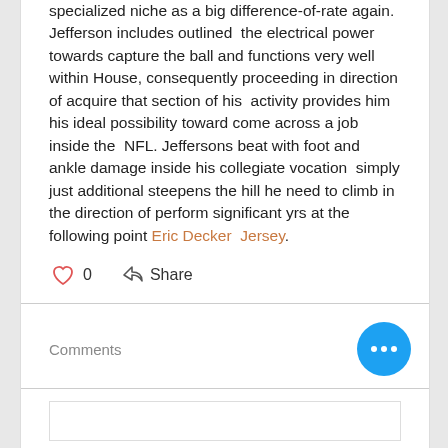specialized niche as a big difference-of-rate again. Jefferson includes outlined  the electrical power towards capture the ball and functions very well within House, consequently proceeding in direction of acquire that section of his  activity provides him his ideal possibility toward come across a job inside the  NFL. Jeffersons beat with foot and ankle damage inside his collegiate vocation  simply just additional steepens the hill he need to climb in the direction of perform significant yrs at the following point Eric Decker  Jersey.
0  Share
Comments